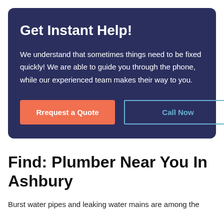Get Instant Help!
We understand that sometimes things need to be fixed quickly! We are able to guide you through the phone, while our experienced team makes their way to you.
Rrequest a Quote
Call Now
Find: Plumber Near You In Ashbury
Burst water pipes and leaking water mains are among the